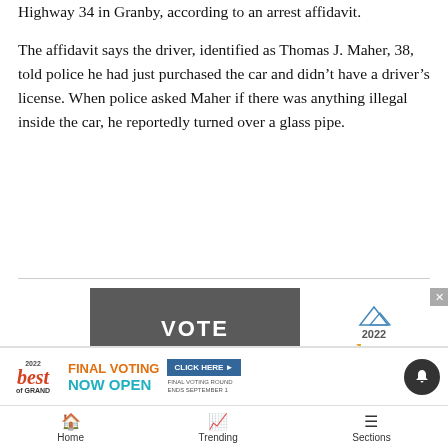Highway 34 in Granby, according to an arrest affidavit.
The affidavit says the driver, identified as Thomas J. Maher, 38, told police he had just purchased the car and didn't have a driver's license. When police asked Maher if there was anything illegal inside the car, he reportedly turned over a glass pipe.
[Figure (other): Advertisement for 'The Nest & The Den' businesses — Vote for Best of Grand 2022 ad, and Autumn's Nest / The Nest Best Gift Shop ad below]
[Figure (other): Bottom banner advertisement: 2022 Best of Grand — Final Voting Now Open, Click Here, Final Voting Round Ends September 1]
Home   Trending   Sections